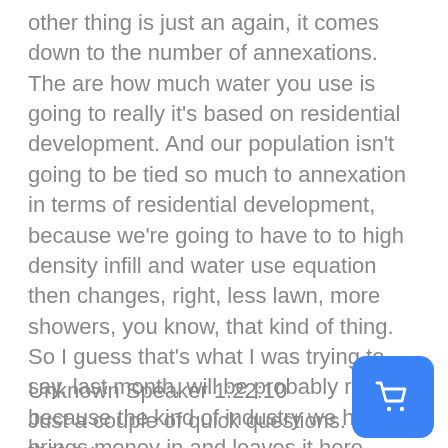other thing is just an again, it comes down to the number of annexations. The are how much water you use is going to really it's based on residential development. And our population isn't going to be tied so much to annexation in terms of residential development, because we're going to have to to high density infill and water use equation then changes, right, less lawn, more showers, you know, that kind of thing. So I guess that's what I was trying to say, last month, will be probably richer, because the kind of industry we have, brings money in and leaves it here much more. But its water use pattern is different. And I'm kind of missing my own point here. There is another one, maybe you'll have to jump back here and for Sorry, it's called.
Unknown Speaker 1:22:10
Just a couple of quick questions. I get that our price is lower than that the way it is right now.
[Figure (other): Blue rounded square button with a white shopping cart icon]